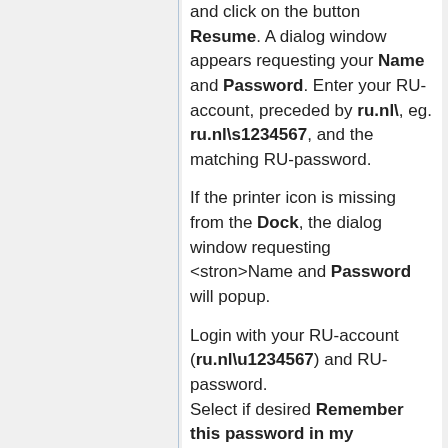and click on the button Resume. A dialog window appears requesting your Name and Password. Enter your RU-account, preceded by ru.nl\, eg. ru.nl\s1234567, and the matching RU-password.
If the printer icon is missing from the Dock, the dialog window requesting <stron>Name and Password will popup.
Login with your RU-account (ru.nl\u1234567) and RU-password.
Select if desired Remember this password in my keychain, so your RU-account and RU-password will be remembered, authentication for print jobs is no more needed.
Clicking OK will, after a second (depending on the size of your print